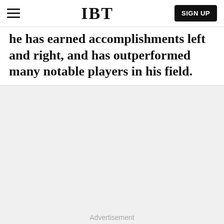IBT | SIGN UP
he has earned accomplishments left and right, and has outperformed many notable players in his field.
Advertisement